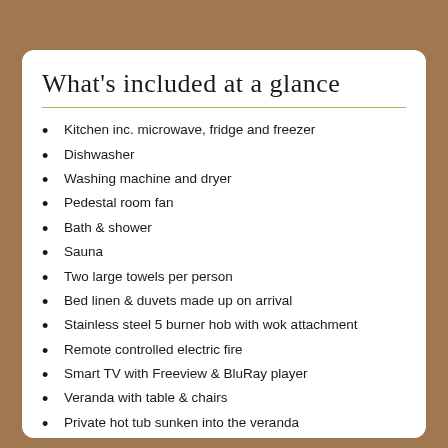What's included at a glance
Kitchen inc. microwave, fridge and freezer
Dishwasher
Washing machine and dryer
Pedestal room fan
Bath & shower
Sauna
Two large towels per person
Bed linen & duvets made up on arrival
Stainless steel 5 burner hob with wok attachment
Remote controlled electric fire
Smart TV with Freeview & BluRay player
Veranda with table & chairs
Private hot tub sunken into the veranda
Gas central heating
Gas & electricity included
Sat and High-def in front of cabin